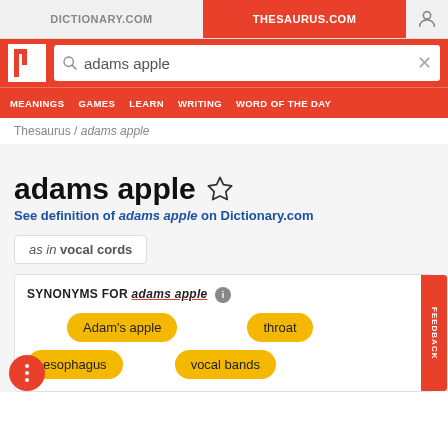DICTIONARY.COM | THESAURUS.COM
[Figure (screenshot): Thesaurus.com website header with logo, search bar showing 'adams apple', navigation bar with MEANINGS, GAMES, LEARN, WRITING, WORD OF THE DAY]
Thesaurus / adams apple
adams apple
See definition of adams apple on Dictionary.com
as in vocal cords
SYNONYMS FOR adams apple
Adam's apple
throat
esophagus
vocal bands